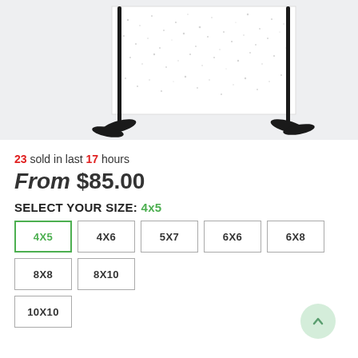[Figure (photo): Product photo of a white sparkle/glitter step-and-repeat backdrop banner on black adjustable stands, shown on a light grey background.]
23 sold in last 17 hours
From $85.00
SELECT YOUR SIZE: 4x5
4X5 4X6 5X7 6X6 6X8 8X8 8X10 10X10